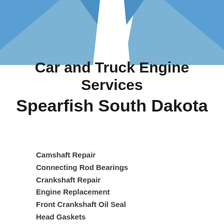[Figure (illustration): Blue decorative geometric shapes forming an X or bowtie pattern at the top of the page]
Car and Truck Engine Services
Spearfish South Dakota
Camshaft Repair
Connecting Rod Bearings
Crankshaft Repair
Engine Replacement
Front Crankshaft Oil Seal
Head Gaskets
Oil Pan Gaskets